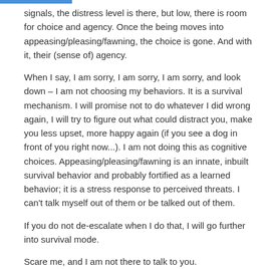signals, the distress level is there, but low, there is room for choice and agency. Once the being moves into appeasing/pleasing/fawning, the choice is gone. And with it, their (sense of) agency.
When I say, I am sorry, I am sorry, I am sorry, and look down – I am not choosing my behaviors. It is a survival mechanism. I will promise not to do whatever I did wrong again, I will try to figure out what could distract you, make you less upset, more happy again (if you see a dog in front of you right now...). I am not doing this as cognitive choices. Appeasing/pleasing/fawning is an innate, inbuilt survival behavior and probably fortified as a learned behavior; it is a stress response to perceived threats. I can't talk myself out of them or be talked out of them.
If you do not de-escalate when I do that, I will go further into survival mode.
Scare me, and I am not there to talk to you.
It is a simple as that.
And yes, I am “difficult” because I am so easily scared. Probably